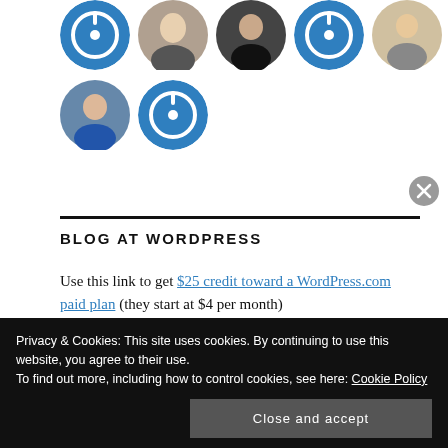[Figure (illustration): Row 1 of circular avatar images: WordPress logo, woman photo, person in black, WordPress logo, person with raised arms, man in blue shirt]
[Figure (illustration): Row 2 of circular avatar images: woman in blue, WordPress logo]
BLOG AT WORDPRESS
Use this link to get $25 credit toward a WordPress.com paid plan (they start at $4 per month)
Privacy & Cookies: This site uses cookies. By continuing to use this website, you agree to their use.
To find out more, including how to control cookies, see here: Cookie Policy
Close and accept